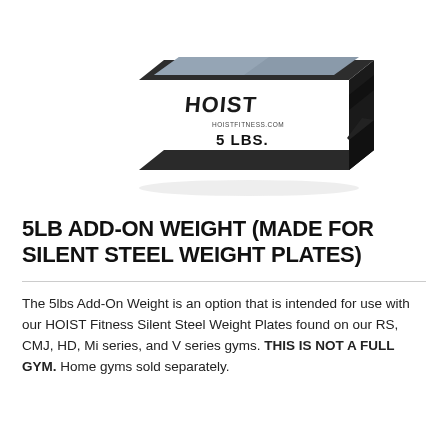[Figure (photo): Product photo of a HOIST 5 LBS add-on weight plate. The weight is a dark charcoal/black rectangular block with rounded corners, featuring a silver-grey metallic top surface. The HOIST logo and '5 LBS.' text are visible on the front face.]
5LB ADD-ON WEIGHT (MADE FOR SILENT STEEL WEIGHT PLATES)
The 5lbs Add-On Weight is an option that is intended for use with our HOIST Fitness Silent Steel Weight Plates found on our RS, CMJ, HD, Mi series, and V series gyms. THIS IS NOT A FULL GYM. Home gyms sold separately.